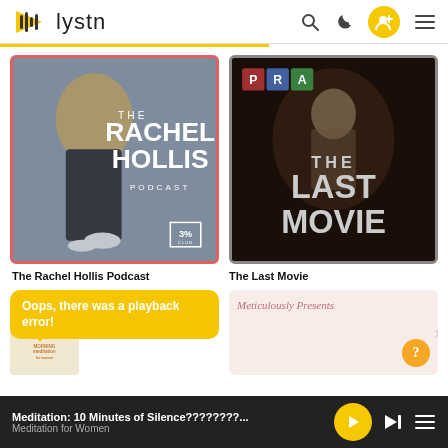lystn (app header with search, theme, add user, and menu icons)
[Figure (screenshot): The Rachel Hollis Podcast cover art — woman in black jacket, white sneakers, with text 'THE RACHEL HOLLIS PODCAST' and a 3% badge]
The Rachel Hollis Podcast
[Figure (screenshot): The Last Movie podcast cover art — dark moody image with PRA logo letters and large text 'THE LAST MOVIE']
The Last Movie
Oops, there was a playback error!
[Figure (screenshot): Meticulously Presents podcast card with pink background and a question mark help button]
Meditation: 10 Minutes of Silence????????...
Meditation for Women